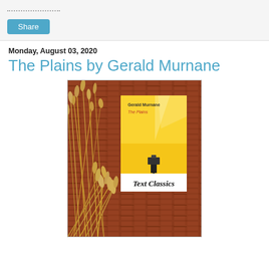Share
Monday, August 03, 2020
The Plains by Gerald Murnane
[Figure (photo): A photo of the book 'The Plains' by Gerald Murnane (Text Classics edition) placed against a brick wall background with wheat/grass stalks decoratively arranged around it. The book has a yellow cover with a camera on a tripod silhouette, and a white band at the bottom reading 'Text Classics'.]